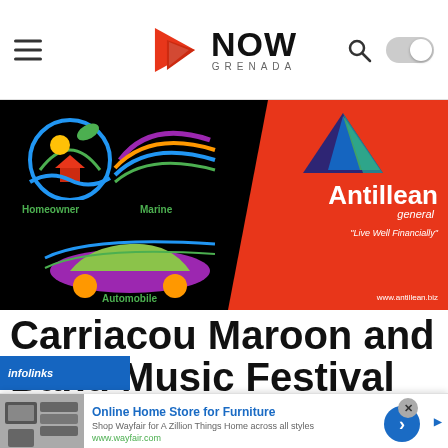NOW GRENADA — navigation bar with hamburger menu, search icon, and dark mode toggle
[Figure (advertisement): Antillean General insurance advertisement with black background showing Homeowner, Marine, and Automobile icons, and red section with Antillean general logo and tagline 'Live Well Financially' www.antillean.biz]
Carriacou Maroon and String Band Music Festival
[Figure (advertisement): Infolinks ad overlay: Online Home Store for Furniture — Shop Wayfair for A Zillion Things Home across all styles — www.wayfair.com]